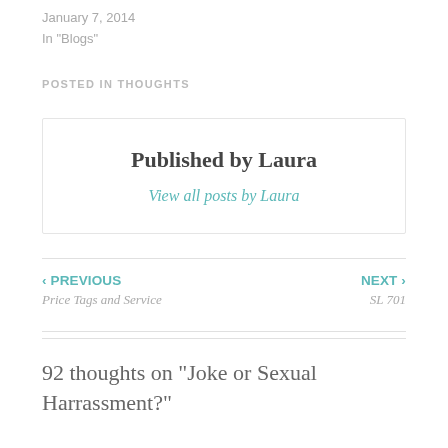January 7, 2014
In "Blogs"
POSTED IN THOUGHTS
Published by Laura
View all posts by Laura
‹ PREVIOUS
Price Tags and Service
NEXT ›
SL 701
92 thoughts on “Joke or Sexual Harrassment?”